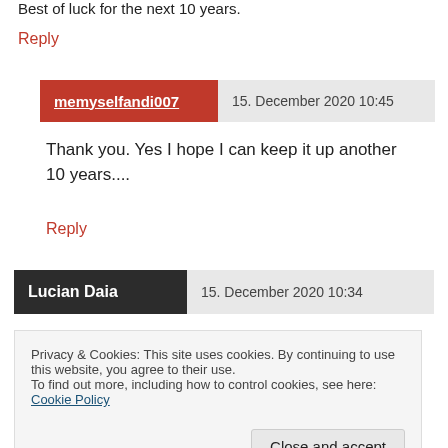Best of luck for the next 10 years.
Reply
memyselfandi007  15. December 2020 10:45
Thank you. Yes I hope I can keep it up another 10 years....
Reply
Lucian Daia  15. December 2020 10:34
Privacy & Cookies: This site uses cookies. By continuing to use this website, you agree to their use.
To find out more, including how to control cookies, see here: Cookie Policy
Close and accept
series, it has been the best read on quite a few